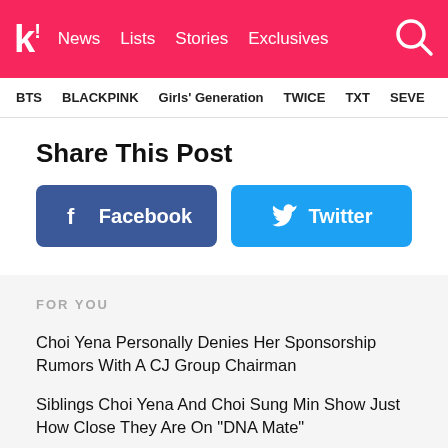k! News Lists Stories Exclusives
BTS BLACKPINK Girls' Generation TWICE TXT SEVE
Share This Post
[Figure (other): Facebook share button (blue/dark) with Facebook icon and text 'Facebook']
[Figure (other): Twitter share button (light blue) with Twitter bird icon and text 'Twitter']
FOR YOU
Choi Yena Personally Denies Her Sponsorship Rumors With A CJ Group Chairman
Siblings Choi Yena And Choi Sung Min Show Just How Close They Are On "DNA Mate"